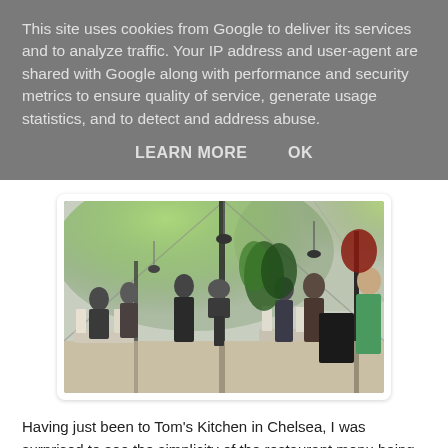This site uses cookies from Google to deliver its services and to analyze traffic. Your IP address and user-agent are shared with Google along with performance and security metrics to ensure quality of service, generate usage statistics, and to detect and address abuse.
LEARN MORE   OK
[Figure (photo): Interior of a large tent venue with green-lit ceiling, people seated and standing at white chairs and tables, plants visible in background]
Having just been to Tom’s Kitchen in Chelsea, I was surprised to see the simplicity of the restaurant menu being offered at the Terrace. Reassuringly short (and a tad overpriced), the menu